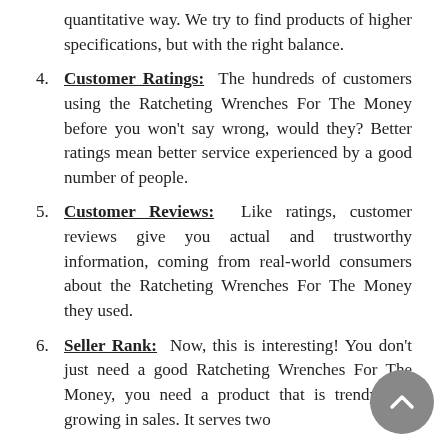(continuation) quantitative way. We try to find products of higher specifications, but with the right balance.
4. Customer Ratings: The hundreds of customers using the Ratcheting Wrenches For The Money before you won't say wrong, would they? Better ratings mean better service experienced by a good number of people.
5. Customer Reviews: Like ratings, customer reviews give you actual and trustworthy information, coming from real-world consumers about the Ratcheting Wrenches For The Money they used.
6. Seller Rank: Now, this is interesting! You don't just need a good Ratcheting Wrenches For The Money, you need a product that is trendy and growing in sales. It serves two